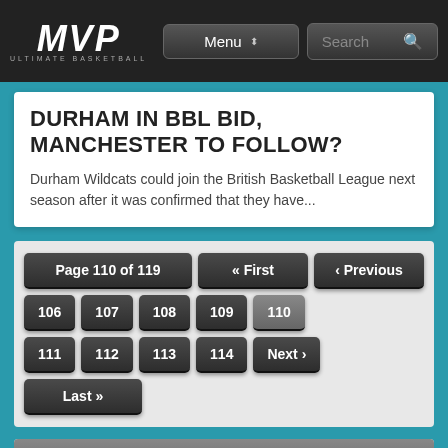MVP ULTIMATE BASKETBALL | Menu | Search
DURHAM IN BBL BID, MANCHESTER TO FOLLOW?
Durham Wildcats could join the British Basketball League next season after it was confirmed that they have...
Page 110 of 119 « First ‹ Previous 106 107 108 109 110 111 112 113 114 Next › Last »
TWITTER POSTS
Tweets by @MVP_247